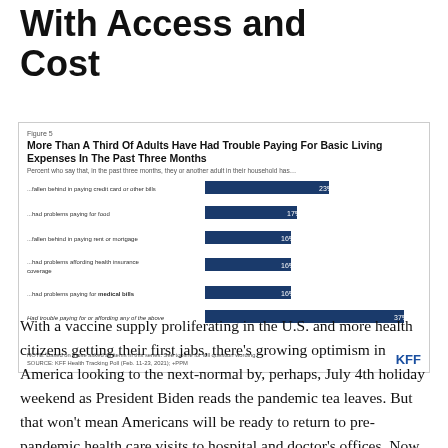With Access and Cost
[Figure (bar-chart): More Than A Third Of Adults Have Had Trouble Paying For Basic Living Expenses In The Past Three Months]
With a vaccine supply proliferating in the U.S. and more health citizens getting their first jabs, there's growing optimism in America looking to the next-normal by, perhaps, July 4th holiday weekend as President Biden reads the pandemic tea leaves. But that won't mean Americans will be ready to return to pre-pandemic health care visits to hospital and doctor's offices. Now that hygiene protocols are well-established in health care providers' settings, at least two